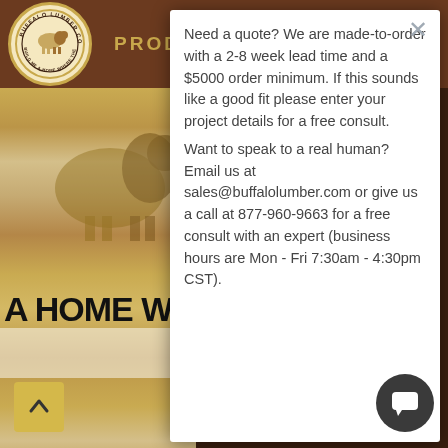[Figure (logo): Buffalo Lumber Co. circular logo with bison illustration and text 'BUILD ME A HOME WHERE THE BUFFALO ROAM']
PRODUC
[Figure (photo): Partial photo of Buffalo Lumber bison logo and wood siding material, with text 'A HOME WI' visible]
Need a quote? We are made-to-order with a 2-8 week lead time and a $5000 order minimum. If this sounds like a good fit please enter your project details for a free consult.
Want to speak to a real human? Email us at sales@buffalolumber.com or give us a call at 877-960-9663 for a free consult with an expert (business hours are Mon - Fri 7:30am - 4:30pm CST).
Buffalo Lumber is a 3rd specializing in custom m wood siding. We repre deliver to customers across the US and Canada. We are NOT a shopping cart. All orders are custom beginning to end. All communication is handled nally - by phone and email.